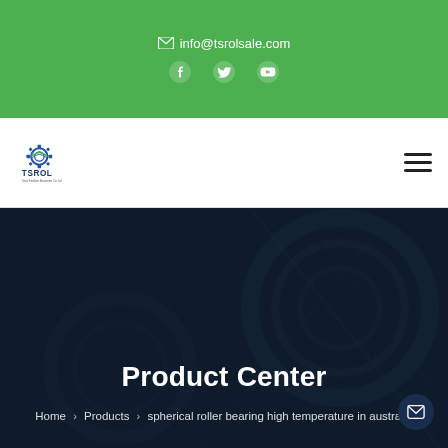✉ info@tsrolsale.com
[Figure (logo): TSROL logo with gear icon and text 'TSROL / Tenor Fertilizer Equipment Co. Ltd']
Product Center
Home > Products > spherical roller bearing high temperature in australia